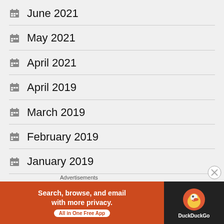June 2021
May 2021
April 2021
April 2019
March 2019
February 2019
January 2019
December 2018
Advertisements
[Figure (other): DuckDuckGo advertisement banner: orange left panel with text 'Search, browse, and email with more privacy. All in One Free App', dark right panel with DuckDuckGo logo and duck icon]